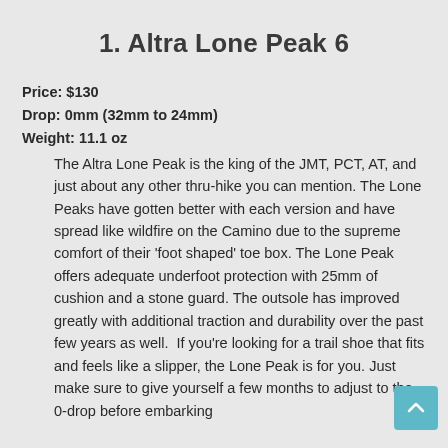1. Altra Lone Peak 6
Price: $130
Drop: 0mm (32mm to 24mm)
Weight: 11.1 oz
The Altra Lone Peak is the king of the JMT, PCT, AT, and just about any other thru-hike you can mention. The Lone Peaks have gotten better with each version and have spread like wildfire on the Camino due to the supreme comfort of their ‘foot shaped’ toe box. The Lone Peak offers adequate underfoot protection with 25mm of cushion and a stone guard. The outsole has improved greatly with additional traction and durability over the past few years as well. If you’re looking for a trail shoe that fits and feels like a slipper, the Lone Peak is for you. Just make sure to give yourself a few months to adjust to the 0-drop before embarking